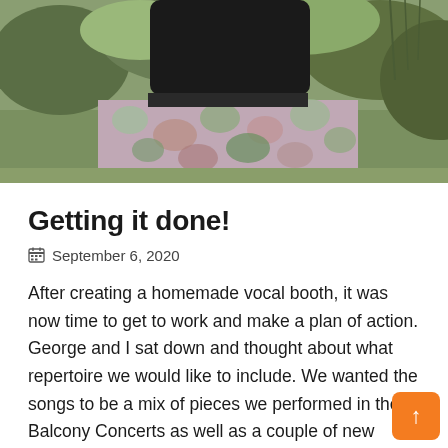[Figure (photo): Outdoor photo of a person wearing a black top and a floral skirt, standing on grass with trees in the background. Only the lower torso and skirt are visible.]
Getting it done!
September 6, 2020
After creating a homemade vocal booth, it was now time to get to work and make a plan of action. George and I sat down and thought about what repertoire we would like to include. We wanted the songs to be a mix of pieces we performed in the Balcony Concerts as well as a couple of new songs to keep your listening ears entertained and refreshed. We asked neighbours and friends for their favourites and re-visited the videos which have now become fond memories until we